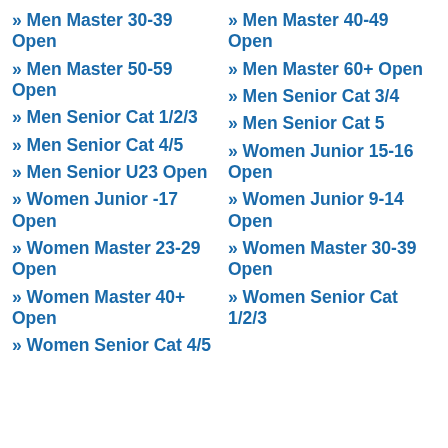» Men Master 30-39 Open
» Men Master 40-49 Open
» Men Master 50-59 Open
» Men Master 60+ Open
» Men Senior Cat 1/2/3
» Men Senior Cat 3/4
» Men Senior Cat 4/5
» Men Senior Cat 5
» Men Senior U23 Open
» Women Junior 15-16 Open
» Women Junior -17 Open
» Women Junior 9-14 Open
» Women Master 23-29 Open
» Women Master 30-39 Open
» Women Master 40+ Open
» Women Senior Cat 1/2/3
» Women Senior Cat 4/5